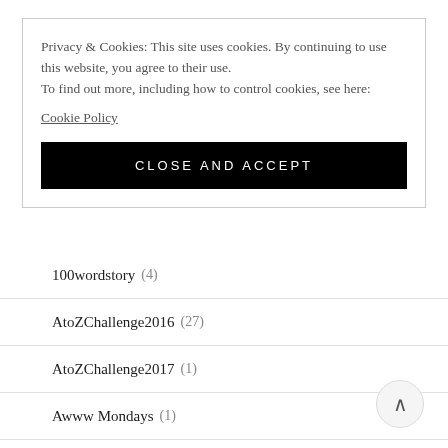Privacy & Cookies: This site uses cookies. By continuing to use this website, you agree to their use.
To find out more, including how to control cookies, see here:
Cookie Policy
CLOSE AND ACCEPT
100wordstory (4)
AtoZChallenge2016 (27)
AtoZChallenge2017 (1)
Awww Mondays (1)
BAR_A_THON (12)